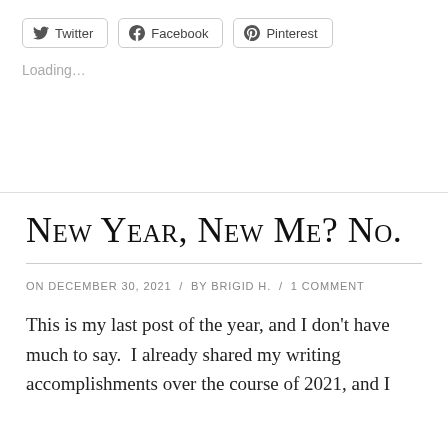[Figure (other): Social share buttons for Twitter, Facebook, and Pinterest]
Loading...
New Year, New Me? No.
ON DECEMBER 30, 2021 / BY BRIGID H. / 1 COMMENT
This is my last post of the year, and I don't have much to say.  I already shared my writing accomplishments over the course of 2021, and I